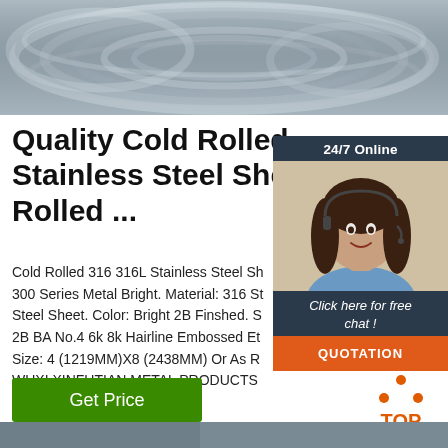[Figure (photo): Close-up of coiled stainless steel wire rods, silver/gray metallic finish, bundled in rolls]
Quality Cold Rolled Stainless Steel Sheet & Rolled ...
Cold Rolled 316 316L Stainless Steel Sh 300 Series Metal Bright. Material: 316 St Steel Sheet. Color: Bright 2B Finshed. S 2B BA No.4 6k 8k Hairline Embossed Et Size: 4 (1219MM)X8 (2438MM) Or As R WUXI XINFUTIAN METAL PRODUCTS 1 2 3.
[Figure (photo): Customer service representative with headset, smiling, with 24/7 Online chat widget overlay including QUOTATION button]
[Figure (other): Get Price green button]
[Figure (other): TOP back-to-top icon with orange triangle dots]
[Figure (photo): Bottom strip — partial product image]